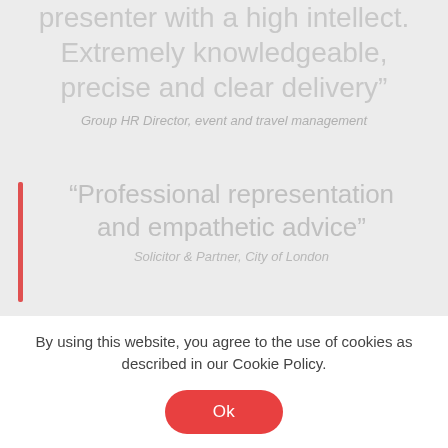presenter with a high intellect. Extremely knowledgeable, precise and clear delivery"
Group HR Director, event and travel management
"Professional representation and empathetic advice"
Solicitor & Partner, City of London
By using this website, you agree to the use of cookies as described in our Cookie Policy.